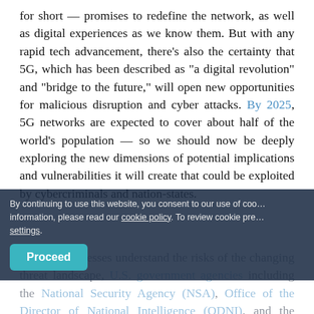for short — promises to redefine the network, as well as digital experiences as we know them. But with any rapid tech advancement, there's also the certainty that 5G, which has been described as "a digital revolution" and "bridge to the future," will open new opportunities for malicious disruption and cyber attacks. By 2025, 5G networks are expected to cover about half of the world's population — so we should now be deeply exploring the new dimensions of potential implications and vulnerabilities it will create that could be exploited by cybercriminals and nation-states.
By continuing to use this website, you consent to our use of cookies. For more information, please read our cookie policy. To review cookie preferences, go to settings.
Proceed
To help businesses understand the risks of the changing threat landscape, U.S. government agencies including the National Security Agency (NSA), Office of the Director of National Intelligence (ODNI), and the Department of Homeland Security's (DHS) Cybersecurity and Infrastructure